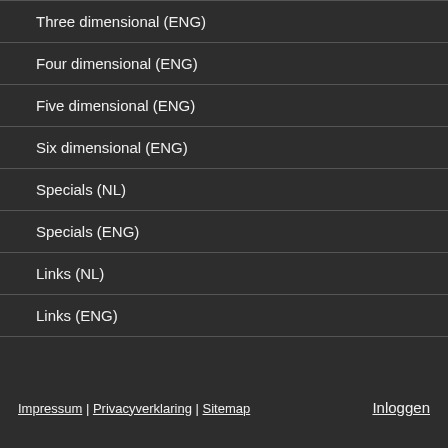Three dimensional (ENG)
Four dimensional (ENG)
Five dimensional (ENG)
Six dimensional (ENG)
Specials (NL)
Specials (ENG)
Links (NL)
Links (ENG)
Impressum | Privacyverklaring | Sitemap    Inloggen